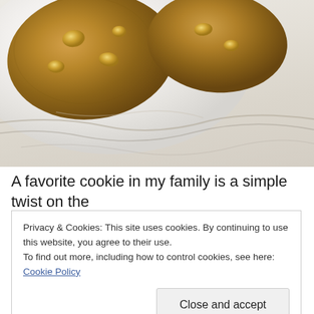[Figure (photo): Close-up photo of golden-brown cookies with caramel chips on a white plate, sitting on a white marble countertop with brown veining]
A favorite cookie in my family is a simple twist on the
Privacy & Cookies: This site uses cookies. By continuing to use this website, you agree to their use.
To find out more, including how to control cookies, see here: Cookie Policy

Close and accept